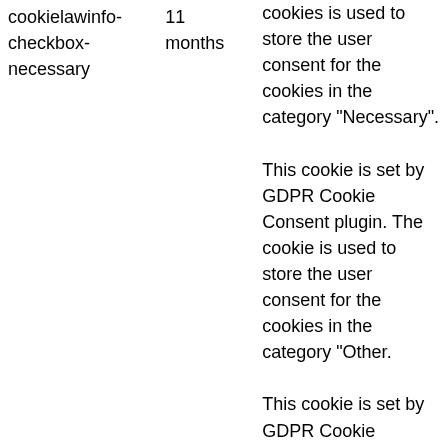| cookielawinfo-checkbox-necessary | 11 months | cookies is used to store the user consent for the cookies in the category "Necessary". This cookie is set by GDPR Cookie Consent plugin. The cookie is used to store the user consent for the cookies in the category "Other. This cookie is set by GDPR Cookie Consent plugin. The |
| cookielawinfo-checkbox-others | 11 months |  |
| cookielawinfo- |  | cookie is used to |